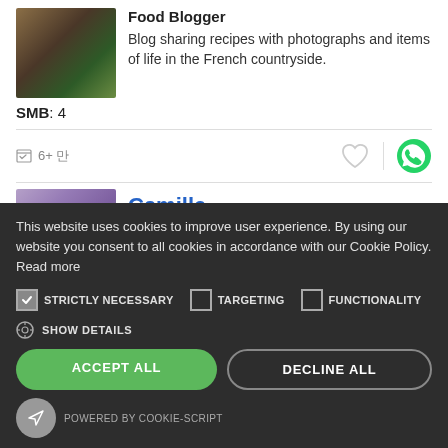[Figure (photo): Photo of a rustic wooden table with plants/nature scene]
Food Blogger
Blog sharing recipes with photographs and items of life in the French countryside.
SMB: 4
6+ 만
[Figure (photo): Photo of Camille, a young woman with dark hair outdoors]
Camille
(L'Oiseau Rose)
This website uses cookies to improve user experience. By using our website you consent to all cookies in accordance with our Cookie Policy. Read more
STRICTLY NECESSARY   TARGETING   FUNCTIONALITY
SHOW DETAILS
ACCEPT ALL
DECLINE ALL
POWERED BY COOKIE-SCRIPT